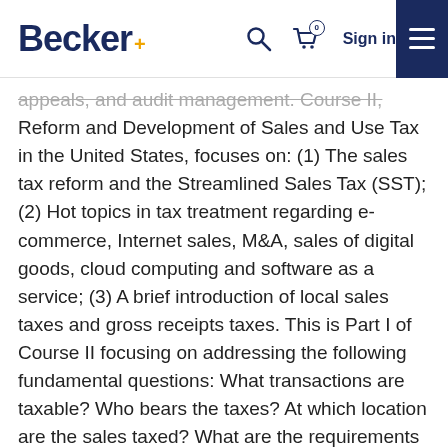Becker+ | Search | Cart (0) | Sign in | Menu
appeals, and audit management. Course II, Reform and Development of Sales and Use Tax in the United States, focuses on: (1) The sales tax reform and the Streamlined Sales Tax (SST); (2) Hot topics in tax treatment regarding e-commerce, Internet sales, M&A, sales of digital goods, cloud computing and software as a service; (3) A brief introduction of local sales taxes and gross receipts taxes. This is Part I of Course II focusing on addressing the following fundamental questions: What transactions are taxable? Who bears the taxes? At which location are the sales taxed? What are the requirements for licensing and registration? How are the taxes calculated? What is the tax base? Which rate to use? What are the compliance requirements?